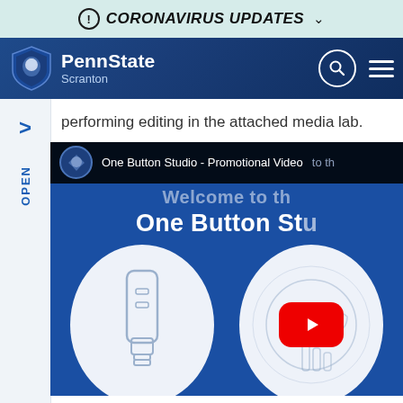CORONAVIRUS UPDATES
[Figure (screenshot): Penn State Scranton website navigation bar with logo, PennState Scranton name, search icon and hamburger menu]
performing editing in the attached media lab.
[Figure (screenshot): YouTube video embed showing One Button Studio - Promotional Video with Welcome to the One Button Studio text overlay, USB drive icon circle and play button circle]